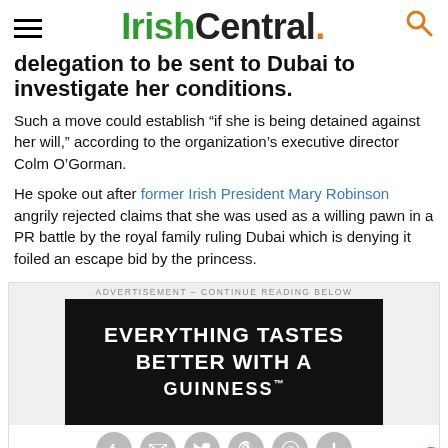IrishCentral.
delegation to be sent to Dubai to investigate her conditions.
Such a move could establish “if she is being detained against her will,” according to the organization’s executive director Colm O’Gorman.
He spoke out after former Irish President Mary Robinson angrily rejected claims that she was used as a willing pawn in a PR battle by the royal family ruling Dubai which is denying it foiled an escape bid by the princess.
[Figure (screenshot): Advertisement banner: black background with white bold text reading 'EVERYTHING TASTES BETTER WITH A GUINNESS' and social sharing buttons below]
ADVERTISEMENT - CONTINUE READING BELOW